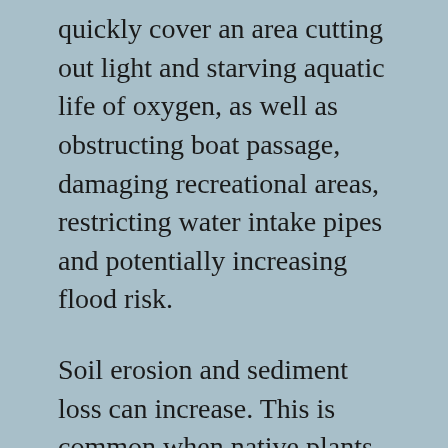quickly cover an area cutting out light and starving aquatic life of oxygen, as well as obstructing boat passage, damaging recreational areas, restricting water intake pipes and potentially increasing flood risk.
Soil erosion and sediment loss can increase. This is common when native plants with fibrous roots are replaced with invasive broad-leaved plants with tap roots.
The frequency and intensity of wildfires is another impact of some invasive non-native plants, particularly invasive grasses that act as highly flammable tinder when dry, creating charred areas ideal for invasive species.
When non-native species are introduced into an ecosystem in which they did not evolve naturally